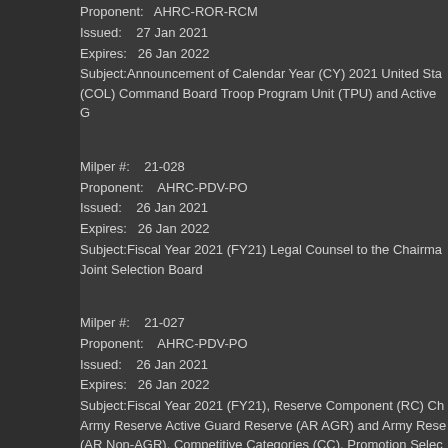Proponent:  AHRC-ROR-RCM
Issued:  27 Jan 2021
Expires:  26 Jan 2022
Subject:Announcement of Calendar Year (CY) 2021 United Sta...
(COL) Command Board Troop Program Unit (TPU) and Active G...
Milper #:  21-028
Proponent:  AHRC-PDV-PO
Issued:  26 Jan 2021
Expires:  26 Jan 2022
Subject:Fiscal Year 2021 (FY21) Legal Counsel to the Chairma...
Joint Selection Board
Milper #:  21-027
Proponent:  AHRC-PDV-PO
Issued:  26 Jan 2021
Expires:  26 Jan 2022
Subject:Fiscal Year 2021 (FY21), Reserve Component (RC) Ch...
Army Reserve Active Guard Reserve (AR AGR) and Army Rese...
(AR Non-AGR), Competitive Categories (CC), Promotion Selec...
Consideration
Milper #:  21-026